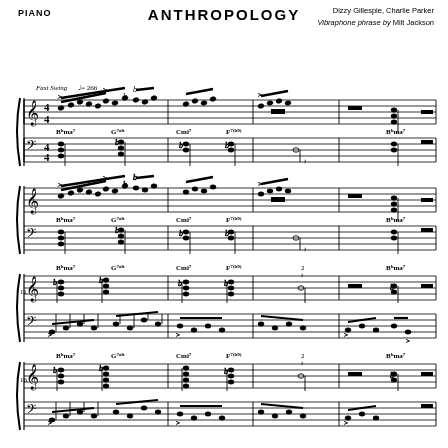PIANO
ANTHROPOLOGY
Dizzy Gillespie, Charlie Parker
Vibraphone phrase by Milt Jackson
[Figure (illustration): Piano sheet music for 'Anthropology' by Dizzy Gillespie and Charlie Parker (Vibraphone phrase by Milt Jackson). Four systems of grand staff notation showing bebop jazz piano arrangement. Fast Swing tempo marking at quarter note = 266. Chord symbols include Bb maj7, G7alt, Cmi7, F7(b9) throughout all systems. First two systems show melodic right-hand lines with chord voicings in the left hand. Systems 3 and 4 show chord voicings in the treble clef with walking/bebop bass patterns in the bass clef.]